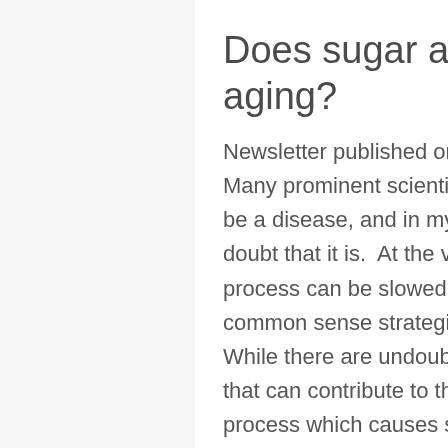Does sugar accelerate aging?
Newsletter published on: November 12, 2012 Many prominent scientists now consider aging to be a disease, and in my opinion, there is no doubt that it is.  At the very least, the aging process can be slowed down by applying some common sense strategies to diet and lifestyle.  While there are undoubtedly a number of factors that can contribute to the aging process, the process which causes sugar to brown in baked goods can be attributed to what is called “glycation” in our skin,